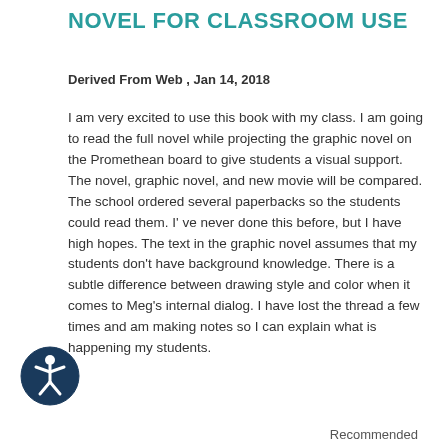NOVEL FOR CLASSROOM USE
Derived From Web , Jan 14, 2018
I am very excited to use this book with my class. I am going to read the full novel while projecting the graphic novel on the Promethean board to give students a visual support. The novel, graphic novel, and new movie will be compared. The school ordered several paperbacks so the students could read them. I' ve never done this before, but I have high hopes. The text in the graphic novel assumes that my students don't have background knowledge. There is a subtle difference between drawing style and color when it comes to Meg's internal dialog. I have lost the thread a few times and am making notes so I can explain what is happening my students.
[Figure (illustration): Circular accessibility icon with a human figure in white on dark teal/navy background]
Recommended